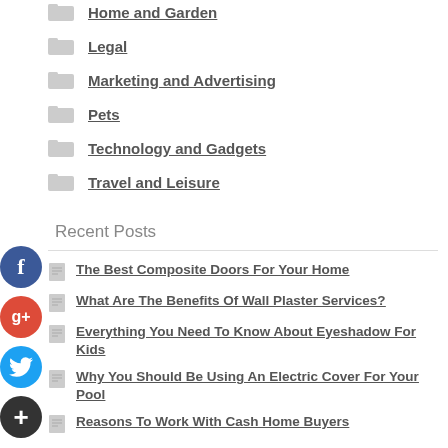Home and Garden
Legal
Marketing and Advertising
Pets
Technology and Gadgets
Travel and Leisure
Recent Posts
The Best Composite Doors For Your Home
What Are The Benefits Of Wall Plaster Services?
Everything You Need To Know About Eyeshadow For Kids
Why You Should Be Using An Electric Cover For Your Pool
Reasons To Work With Cash Home Buyers